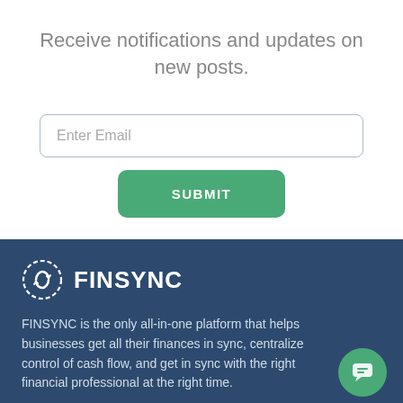Receive notifications and updates on new posts.
[Figure (other): Email input field with placeholder text 'Enter Email' and a green SUBMIT button below it]
[Figure (logo): FINSYNC logo with circular sync icon in white on dark blue background]
FINSYNC is the only all-in-one platform that helps businesses get all their finances in sync, centralize control of cash flow, and get in sync with the right financial professional at the right time.